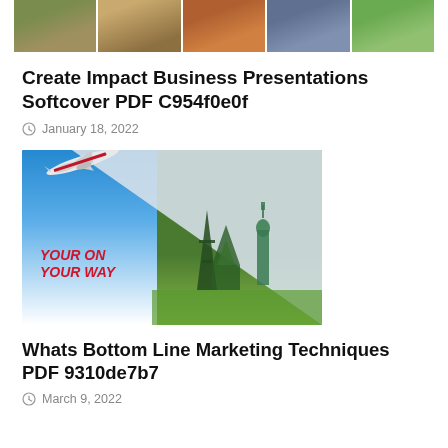[Figure (photo): Row of five travel landmark photos at top: Machu Picchu, Colosseum, canyon/desert rock, Eiffel Tower arch, green hills]
Create Impact Business Presentations Softcover PDF C954f0e0f
January 18, 2022
[Figure (photo): Travel collage image: airplane flying over blue sky on left, page-peel diagonal revealing world landmarks (Eiffel Tower, Statue of Liberty, temple) on right, red text 'YOUR ON YOUR WAY']
Whats Bottom Line Marketing Techniques PDF 9310de7b7
March 9, 2022